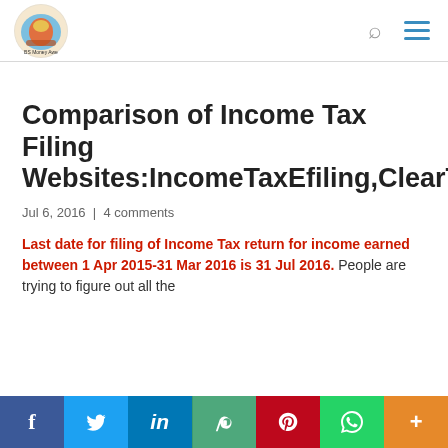BS Money Awe (logo) | search icon | hamburger menu
Comparison of Income Tax Filing Websites:IncomeTaxEfiling,ClearTax,etc
Jul 6, 2016 | 4 comments
Last date for filing of Income Tax return for income earned between 1 Apr 2015-31 Mar 2016 is 31 Jul 2016. People are trying to figure out all the